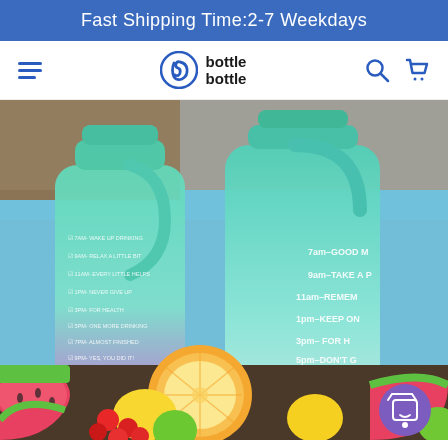Fast Shipping Time:2-7 Weekdays
[Figure (logo): Bottle Bottle brand logo with hamburger menu, search and cart icons in navigation bar]
[Figure (photo): Two large motivational water bottles (mint/teal to purple gradient) with time markers, surrounded by colorful fruits including watermelon, grapefruit, lemon, lime, and cherry tomatoes near a pool. Bottle Bottle brand logo visible on right bottle.]